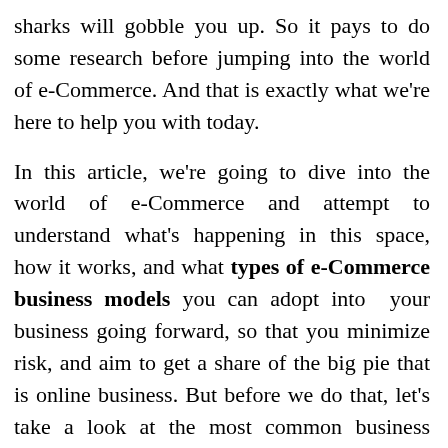sharks will gobble you up. So it pays to do some research before jumping into the world of e-Commerce. And that is exactly what we're here to help you with today.

In this article, we're going to dive into the world of e-Commerce and attempt to understand what's happening in this space, how it works, and what types of e-Commerce business models you can adopt into your business going forward, so that you minimize risk, and aim to get a share of the big pie that is online business. But before we do that, let's take a look at the most common business classifications, as these will help in simplifying our decision in picking up a business model for our company.